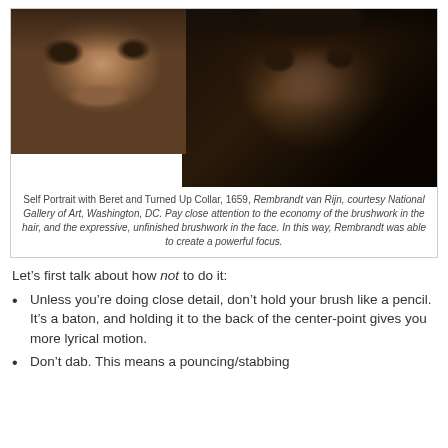[Figure (photo): Two images of Rembrandt self-portraits side by side: a close-up detail of a face on the left, and the full Self Portrait with Beret and Turned Up Collar (1659) on the right.]
Self Portrait with Beret and Turned Up Collar, 1659, Rembrandt van Rijn, courtesy National Gallery of Art, Washington, DC. Pay close attention to the economy of the brushwork in the hair, and the expressive, unfinished brushwork in the face. In this way, Rembrandt was able to create a powerful focus.
Let's first talk about how not to do it:
Unless you're doing close detail, don't hold your brush like a pencil. It's a baton, and holding it to the back of the center-point gives you more lyrical motion.
Don't dab. This means a pouncing/stabbing